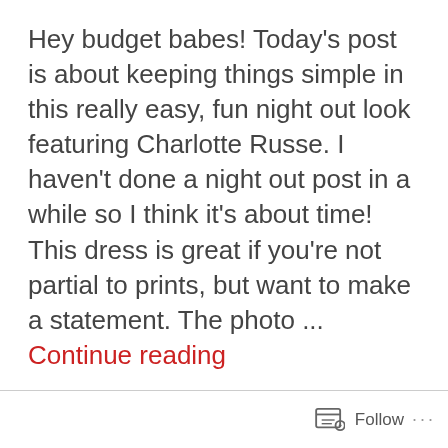Hey budget babes! Today's post is about keeping things simple in this really easy, fun night out look featuring Charlotte Russe. I haven't done a night out post in a while so I think it's about time! This dress is great if you're not partial to prints, but want to make a statement. The photo ... Continue reading
Follow ···